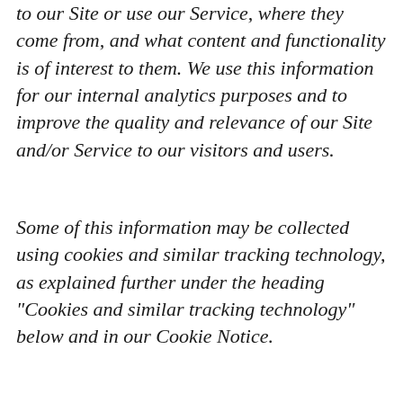to our Site or use our Service, where they come from, and what content and functionality is of interest to them. We use this information for our internal analytics purposes and to improve the quality and relevance of our Site and/or Service to our visitors and users.
Some of this information may be collected using cookies and similar tracking technology, as explained further under the heading "Cookies and similar tracking technology" below and in our Cookie Notice.